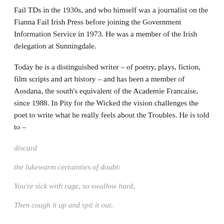Fail TDs in the 1930s, and who himself was a journalist on the Fianna Fail Irish Press before joining the Government Information Service in 1973. He was a member of the Irish delegation at Sunningdale.
Today he is a distinguished writer – of poetry, plays, fiction, film scripts and art history – and has been a member of Aosdana, the south's equivalent of the Academie Francaise, since 1988. In Pity for the Wicked the vision challenges the poet to write what he really feels about the Troubles. He is told to –
discard
the lukewarm certainties of doubt:
You're sick with rage, so swallow hard,
Then cough it up and spit it out.